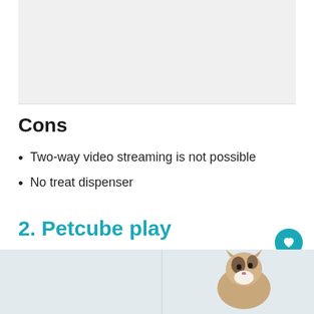[Figure (photo): Placeholder image area at the top of the page (partially visible, light gray background)]
Cons
Two-way video streaming is not possible
No treat dispenser
2. Petcube play
[Figure (photo): Photo of a calico cat looking upward, against a light background — partially visible at the bottom of the page]